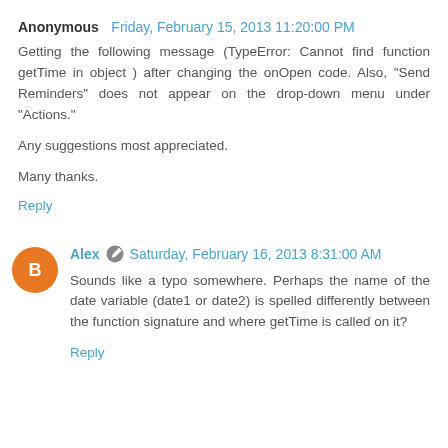Anonymous  Friday, February 15, 2013 11:20:00 PM
Getting the following message (TypeError: Cannot find function getTime in object ) after changing the onOpen code. Also, "Send Reminders" does not appear on the drop-down menu under "Actions."

Any suggestions most appreciated.

Many thanks.
Reply
Alex  Saturday, February 16, 2013 8:31:00 AM
Sounds like a typo somewhere. Perhaps the name of the date variable (date1 or date2) is spelled differently between the function signature and where getTime is called on it?
Reply